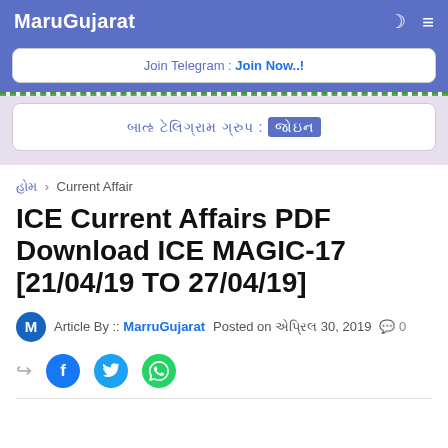MaruGujarat
Join Telegram : Join Now..!
Gujarati text banner (Join Telegram in Gujarati)
હોમ > Current Affair
ICE Current Affairs PDF Download ICE MAGIC-17 [21/04/19 TO 27/04/19]
Article By :: MarruGujarat Posted on એપ્રિલ 30, 2019  0